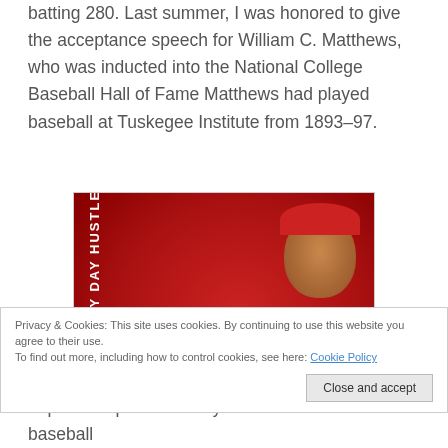batting 280. Last summer, I was honored to give the acceptance speech for William C. Matthews, who was inducted into the National College Baseball Hall of Fame Matthews had played baseball at Tuskegee Institute from 1893–97.
[Figure (photo): A man wearing a red t-shirt with text on it, wearing a red cap, photographed sideways. The shirt appears to say 'EVERY DAY HUSTLE' with a baseball player graphic.]
Privacy & Cookies: This site uses cookies. By continuing to use this website you agree to their use. To find out more, including how to control cookies, see here: Cookie Policy
Close and accept
hop onto a public conveyance and take in a baseball